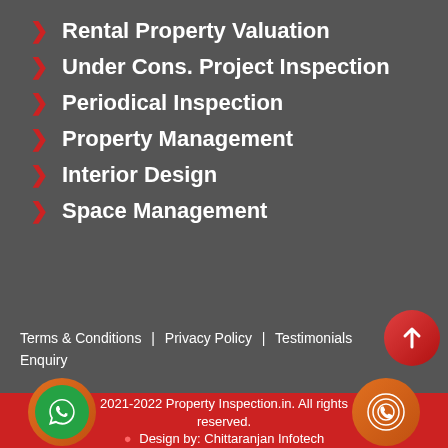Rental Property Valuation
Under Cons. Project Inspection
Periodical Inspection
Property Management
Interior Design
Space Management
Terms & Conditions | Privacy Policy | Testimonials | Enquiry
2021-2022 Property Inspection.in. All rights reserved. Design by: Chittaranjan Infotech